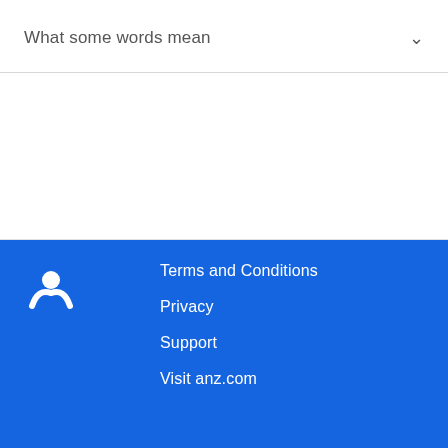What some words mean
Terms and Conditions
Privacy
Support
Visit anz.com